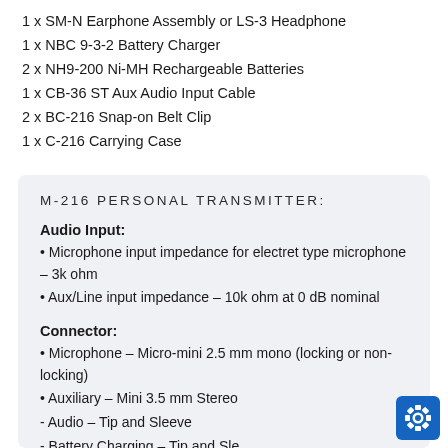1 x SM-N Earphone Assembly or LS-3 Headphone
1 x NBC 9-3-2 Battery Charger
2 x NH9-200 Ni-MH Rechargeable Batteries
1 x CB-36 ST Aux Audio Input Cable
2 x BC-216 Snap-on Belt Clip
1 x C-216 Carrying Case
M-216 PERSONAL TRANSMITTER:
Audio Input:
Microphone input impedance for electret type microphone – 3k ohm
Aux/Line input impedance – 10k ohm at 0 dB nominal
Connector:
Microphone – Micro-mini 2.5 mm mono (locking or non-locking)
Auxiliary – Mini 3.5 mm Stereo
- Audio – Tip and Sleeve
- Battery Charging – Tip and Sleeve